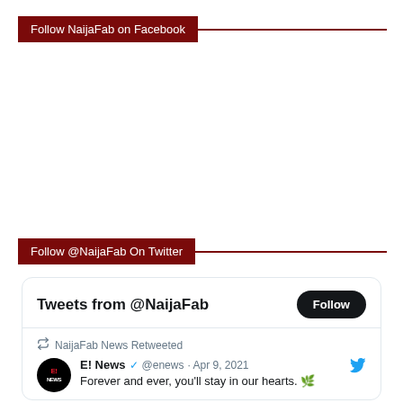Follow NaijaFab on Facebook
Follow @NaijaFab On Twitter
[Figure (screenshot): Twitter widget card showing 'Tweets from @NaijaFab' with a Follow button, a retweet by NaijaFab News of an E! News tweet from Apr 9, 2021 saying 'Forever and ever, you'll stay in our hearts.']